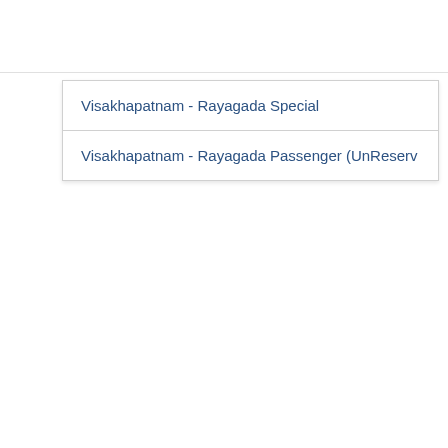[Figure (logo): TravelKhana logo with chef hat icon, TRAVEL in red, KHANA in orange/yellow, with decorative dots underline]
Visakhapatnam - Rayagada Special
Visakhapatnam - Rayagada Passenger (UnReserv